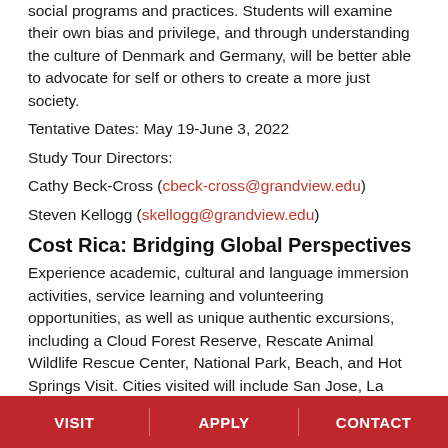social programs and practices. Students will examine their own bias and privilege, and through understanding the culture of Denmark and Germany, will be better able to advocate for self or others to create a more just society.
Tentative Dates: May 19-June 3, 2022
Study Tour Directors:
Cathy Beck-Cross (cbeck-cross@grandview.edu)
Steven Kellogg (skellogg@grandview.edu)
Cost Rica: Bridging Global Perspectives
Experience academic, cultural and language immersion activities, service learning and volunteering opportunities, as well as unique authentic excursions, including a Cloud Forest Reserve, Rescate Animal Wildlife Rescue Center, National Park, Beach, and Hot Springs Visit. Cities visited will include San Jose, La Fortuna, and Santa Elena.
Tentative Dates: May 9-19, 2022
Study Tour Directors:
VISIT   APPLY   CONTACT